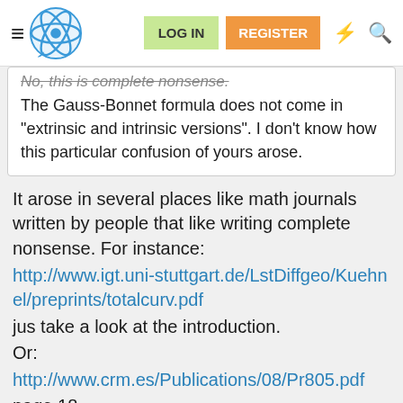LOG IN | REGISTER
No, this is complete nonsense.
The Gauss-Bonnet formula does not come in "extrinsic and intrinsic versions". I don't know how this particular confusion of yours arose.
It arose in several places like math journals written by people that like writing complete nonsense. For instance:
http://www.igt.uni-stuttgart.de/LstDiffgeo/Kuehnel/preprints/totalcurv.pdf
jus take a look at the introduction.
Or:
http://www.crm.es/Publications/08/Pr805.pdf
page 18
just to mention a couple that are freely available.